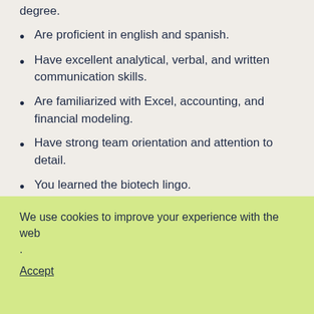degree.
Are proficient in english and spanish.
Have excellent analytical, verbal, and written communication skills.
Are familiarized with Excel, accounting, and financial modeling.
Have strong team orientation and attention to detail.
You learned the biotech lingo.
Have 2–4 years of experience in biotech/pharma/healthcare. Some work
We use cookies to improve your experience with the web .
Accept